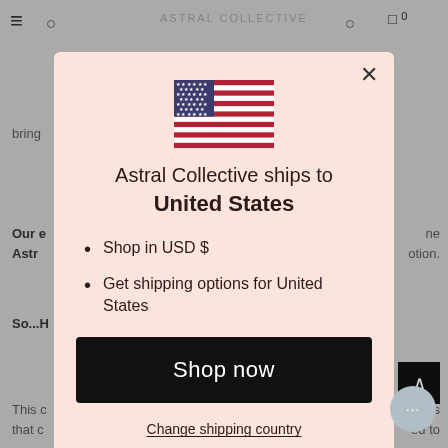[Figure (screenshot): Website background with navigation bar and partial text content visible behind a modal dialog]
[Figure (illustration): US flag SVG illustration centered in modal]
Astral Collective ships to United States
Shop in USD $
Get shipping options for United States
Shop now
Change shipping country